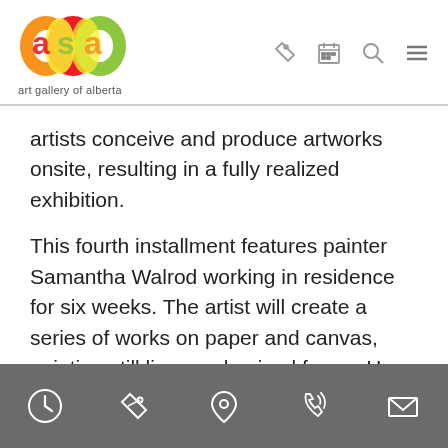[Figure (logo): Art Gallery of Alberta logo with colorful overlapping letter shapes in orange, red, yellow, green and text 'art gallery of alberta' below]
artists conceive and produce artworks onsite, resulting in a fully realized exhibition.
This fourth installment features painter Samantha Walrod working in residence for six weeks. The artist will create a series of works on paper and canvas, painting still lives and animal forms. Her exhibition, Vanitas, will explore ideas of life and loss.
[Figure (infographic): Dark grey footer bar with five white icon symbols: clock/hours, ticket, map pin/location, phone, envelope/email]